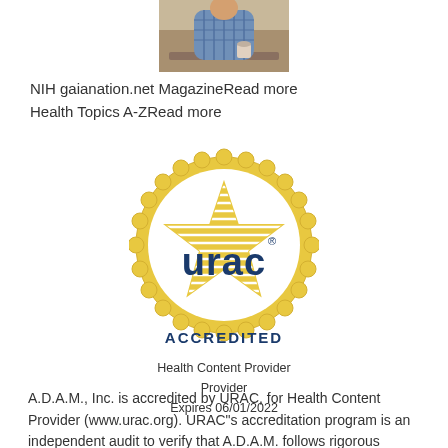[Figure (photo): Photo of a person eating or drinking at a table, wearing a plaid shirt]
NIH gaianation.net MagazineRead more
Health Topics A-ZRead more
[Figure (logo): URAC Accredited Health Content Provider seal - gold circular badge with star and 'urac' text in dark blue, labeled ACCREDITED]
Health Content Provider
Expires 06/01/2022
A.D.A.M., Inc. is accredited by URAC, for Health Content Provider (www.urac.org). URAC"s accreditation program is an independent audit to verify that A.D.A.M. follows rigorous standards of